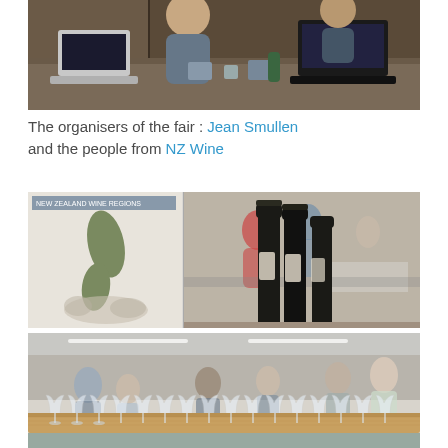[Figure (photo): Two people at a registration or organizer desk with laptops, cables and equipment on the table, in a conference or event venue.]
The organisers of the fair : Jean Smullen and the people from NZ Wine
[Figure (photo): Composite of two photos: left shows a NZ Wine Regions map poster with New Zealand and world maps; right shows several dark wine bottles in the foreground with people tasting wine in a blurred background at a wine fair.]
[Figure (photo): Interior of a wine fair venue with rows of empty wine glasses on a wooden bar counter in the foreground, and people mingling and tasting wine in the background under recessed lighting.]